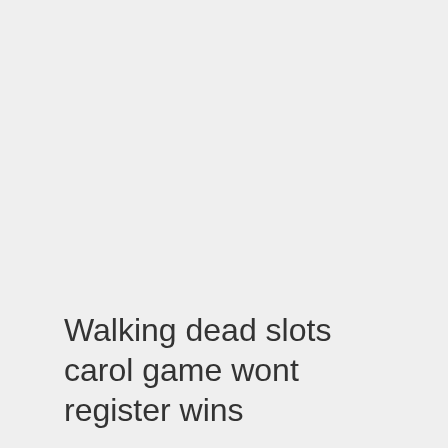Walking dead slots carol game wont register wins